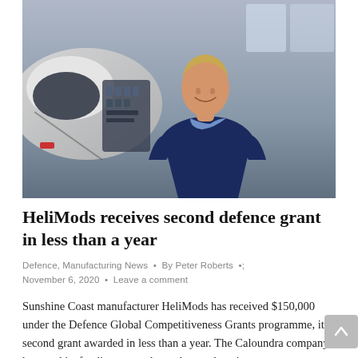[Figure (photo): A man in a dark navy blazer and light blue shirt smiling in front of a helicopter cockpit/maintenance area in an aircraft hangar. He has short blonde hair and is posed professionally.]
HeliMods receives second defence grant in less than a year
Defence, Manufacturing News  •  By Peter Roberts  •  November 6, 2020  •  Leave a comment
Sunshine Coast manufacturer HeliMods has received $150,000 under the Defence Global Competitiveness Grants programme, its second grant awarded in less than a year. The Caloundra company has used its funding to purchase plant and equipment to